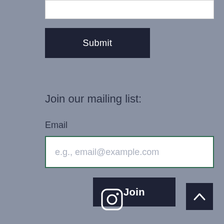[Figure (screenshot): White input text field (top, partially visible)]
Submit
Join our mailing list:
Email *
e.g., email@example.com
Join
[Figure (logo): Instagram icon]
[Figure (other): Back to top arrow button]